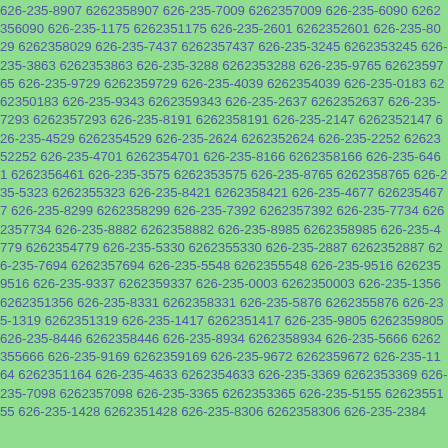626-235-8907 6262358907 626-235-7009 6262357009 626-235-6090 6262356090 626-235-1175 6262351175 626-235-2601 6262352601 626-235-8029 6262358029 626-235-7437 6262357437 626-235-3245 6262353245 626-235-3863 6262353863 626-235-3288 6262353288 626-235-9765 6262359765 626-235-9729 6262359729 626-235-4039 6262354039 626-235-0183 6262350183 626-235-9343 6262359343 626-235-2637 6262352637 626-235-7293 6262357293 626-235-8191 6262358191 626-235-2147 6262352147 626-235-4529 6262354529 626-235-2624 6262352624 626-235-2252 6262352252 626-235-4701 6262354701 626-235-8166 6262358166 626-235-6461 6262356461 626-235-3575 6262353575 626-235-8765 6262358765 626-235-5323 6262355323 626-235-8421 6262358421 626-235-4677 6262354677 626-235-8299 6262358299 626-235-7392 6262357392 626-235-7734 6262357734 626-235-8882 6262358882 626-235-8985 6262358985 626-235-4779 6262354779 626-235-5330 6262355330 626-235-2887 6262352887 626-235-7694 6262357694 626-235-5548 6262355548 626-235-9516 6262359516 626-235-9337 6262359337 626-235-0003 6262350003 626-235-1356 6262351356 626-235-8331 6262358331 626-235-5876 6262355876 626-235-1319 6262351319 626-235-1417 6262351417 626-235-9805 6262359805 626-235-8446 6262358446 626-235-8934 6262358934 626-235-5666 6262355666 626-235-9169 6262359169 626-235-9672 6262359672 626-235-1164 6262351164 626-235-4633 6262354633 626-235-3369 6262353369 626-235-7098 6262357098 626-235-3365 6262353365 626-235-5155 6262355155 626-235-1428 6262351428 626-235-8306 6262358306 626-235-2384